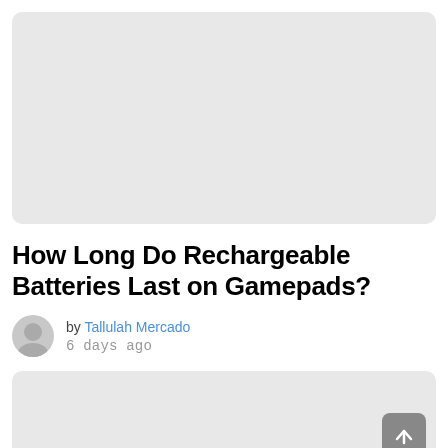[Figure (photo): Light gray placeholder image at top of article]
How Long Do Rechargeable Batteries Last on Gamepads?
by Tallulah Mercado
6 days ago
[Figure (photo): Light gray placeholder image at bottom, with scroll-to-top button]